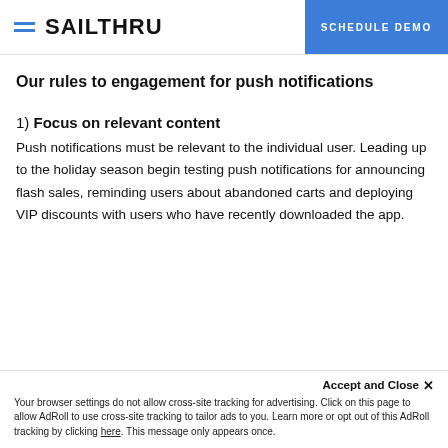SAILTHRU | SCHEDULE DEMO
Our rules to engagement for push notifications
1) Focus on relevant content
Push notifications must be relevant to the individual user. Leading up to the holiday season begin testing push notifications for announcing flash sales, reminding users about abandoned carts and deploying VIP discounts with users who have recently downloaded the app.
Accept and Close ×
Your browser settings do not allow cross-site tracking for advertising. Click on this page to allow AdRoll to use cross-site tracking to tailor ads to you. Learn more or opt out of this AdRoll tracking by clicking here. This message only appears once.